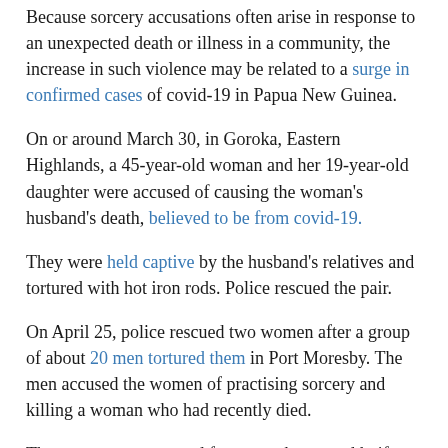Because sorcery accusations often arise in response to an unexpected death or illness in a community, the increase in such violence may be related to a surge in confirmed cases of covid-19 in Papua New Guinea.
On or around March 30, in Goroka, Eastern Highlands, a 45-year-old woman and her 19-year-old daughter were accused of causing the woman's husband's death, believed to be from covid-19.
They were held captive by the husband's relatives and tortured with hot iron rods. Police rescued the pair.
On April 25, police rescued two women after a group of about 20 men tortured them in Port Moresby. The men accused the women of practising sorcery and killing a woman who had recently died.
The women were treated for severe burns and knife wounds.